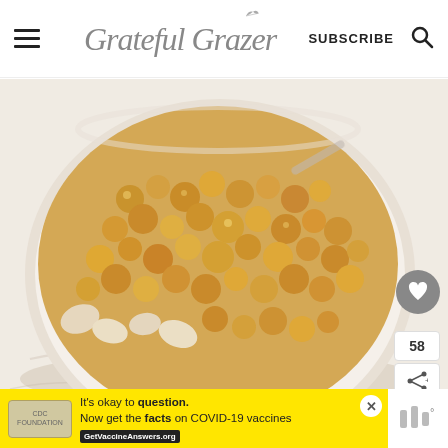Grateful Grazer — SUBSCRIBE
[Figure (photo): Close-up photo of a bowl containing mixed chickpeas and popcorn on a marble surface]
58
It's okay to question. Now get the facts on COVID-19 vaccines GetVaccineAnswers.org